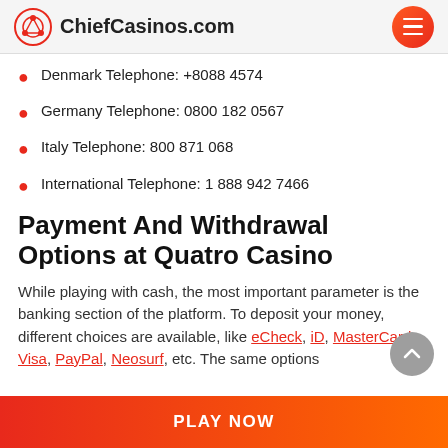ChiefCasinos.com
Denmark Telephone: +8088 4574
Germany Telephone: 0800 182 0567
Italy Telephone: 800 871 068
International Telephone: 1 888 942 7466
Payment And Withdrawal Options at Quatro Casino
While playing with cash, the most important parameter is the banking section of the platform. To deposit your money, different choices are available, like eCheck, iD, MasterCard, Visa, PayPal, Neosurf, etc. The same options
PLAY NOW